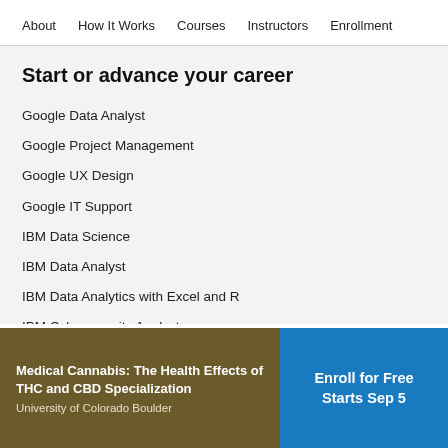About   How It Works   Courses   Instructors   Enrollment
Start or advance your career
Google Data Analyst
Google Project Management
Google UX Design
Google IT Support
IBM Data Science
IBM Data Analyst
IBM Data Analytics with Excel and R
IBM Cybersecurity Analyst
IBM Data Engineering
Medical Cannabis: The Health Effects of THC and CBD Specialization
University of Colorado Boulder
Enroll for Free
Starts Sep 5